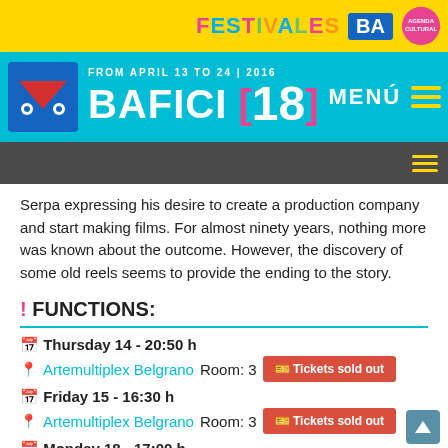[Figure (screenshot): BAFICI 18 festival website header with yellow top bar showing FESTIVALES BA logo, teal BAFICI [18] header with menu, and dark navigation bar]
Serpa expressing his desire to create a production company and start making films. For almost ninety years, nothing more was known about the outcome. However, the discovery of some old reels seems to provide the ending to the story.
! FUNCTIONS:
Thursday 14 - 20:50 h
Artemultiplex Belgrano Room: 3   Tickets sold out
Friday 15 - 16:30 h
Artemultiplex Belgrano Room: 3   Tickets sold out
Monday 18 - 17:00 h